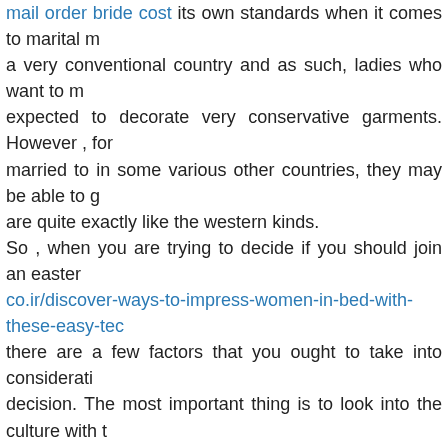mail order bride cost its own standards when it comes to marital... a very conventional country and as such, ladies who want to m... expected to decorate very conservative garments. However, for... married to in some various other countries, they may be able to g... are quite exactly like the western kinds. So, when you are trying to decide if you should join an easte... co.ir/discover-ways-to-impress-women-in-bed-with-these-easy-tec... there are a few factors that you ought to take into considerat... decision. The most important thing is to look into the culture with t... get married to. Once you choose to do that, you should then have... decision regarding the sort of man you want to marry.
This entry is filed under: General | no comment »
Comments are closed.
« buddhist dating sites    How to help yo...